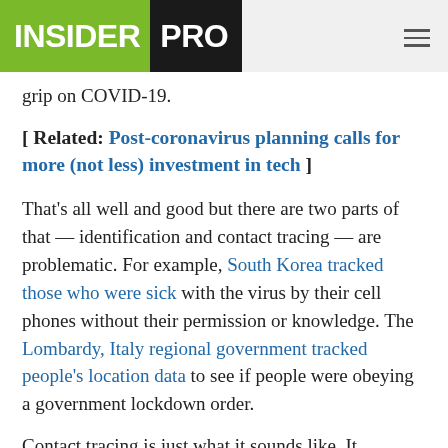INSIDER PRO
grip on COVID-19.
[ Related: Post-coronavirus planning calls for more (not less) investment in tech ]
That's all well and good but there are two parts of that — identification and contact tracing — are problematic. For example, South Korea tracked those who were sick with the virus by their cell phones without their permission or knowledge. The Lombardy, Italy regional government tracked people's location data to see if people were obeying a government lockdown order.
Contact tracing is just what it sounds like. It